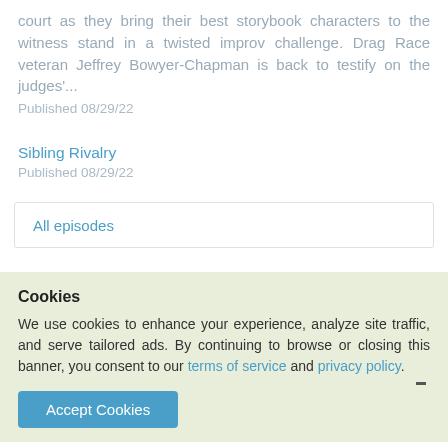court as they bring their best storybook characters to the witness stand in a twisted improv challenge. Drag Race veteran Jeffrey Bowyer-Chapman is back to testify on the judges'...
Published 08/29/22
Sibling Rivalry
Published 08/29/22
All episodes
All reviews
Cookies
We use cookies to enhance your experience, analyze site traffic, and serve tailored ads. By continuing to browse or closing this banner, you consent to our terms of service and privacy policy.
Accept Cookies
Genres